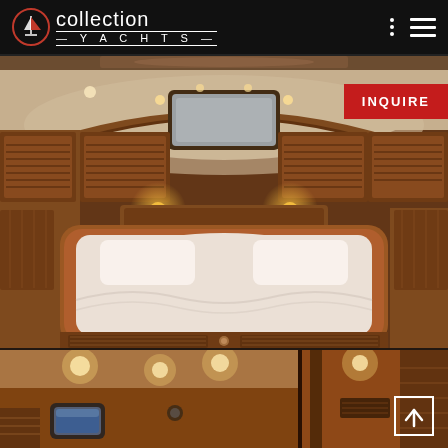collection YACHTS
[Figure (photo): Top sliver showing partial view of yacht interior with ornate rug/carpet pattern]
[Figure (photo): Yacht cabin interior showing a large double bed with white bedding, surrounded by rich teak wood paneling, overhead skylights, recessed lighting, and louvered cabinet doors]
INQUIRE
[Figure (photo): Yacht interior showing ceiling with recessed lighting, a small porthole window with blue sky visible, wood-paneled walls and a corridor with warm ambient lighting]
[Figure (other): Up arrow navigation button]